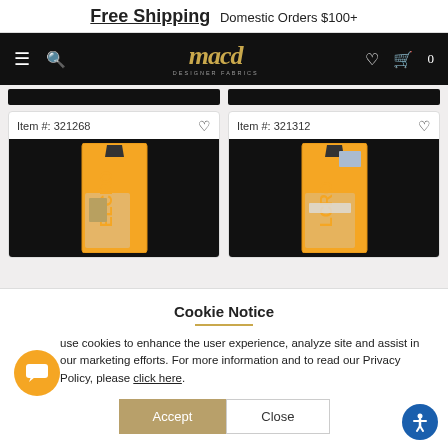Free Shipping Domestic Orders $100+
[Figure (screenshot): Mood Designer Fabrics website navigation bar with hamburger menu, search, logo, heart, and cart icons on black background]
Item #: 321268
[Figure (photo): VELCRO brand product in orange packaging, Item 321268]
Item #: 321312
[Figure (photo): VELCRO brand product in orange packaging, Item 321312]
Cookie Notice
use cookies to enhance the user experience, analyze site and assist in our marketing efforts. For more information and to read our Privacy Policy, please click here.